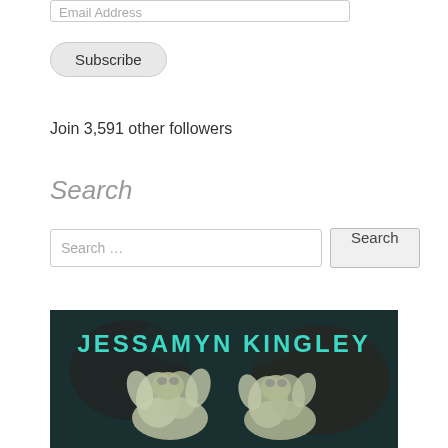Email Address
Subscribe
Join 3,591 other followers
Search
Search …
Search
[Figure (photo): Book cover by Jessamyn Kingley with teal lettering on dark background, showing two frog/creature sculptures below the author name]